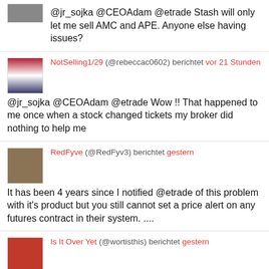@jr_sojka @CEOAdam @etrade Stash will only let me sell AMC and APE. Anyone else having issues?
NotSelling1/29 (@rebeccac0602) berichtet vor 21 Stunden
@jr_sojka @CEOAdam @etrade Wow !! That happened to me once when a stock changed tickets my broker did nothing to help me
RedFyve (@RedFyv3) berichtet gestern
It has been 4 years since I notified @etrade of this problem with it's product but you still cannot set a price alert on any futures contract in their system. ....
Is It Over Yet (@wortisthis) berichtet gestern
@etrade Yup, that's who I called and they couldn't